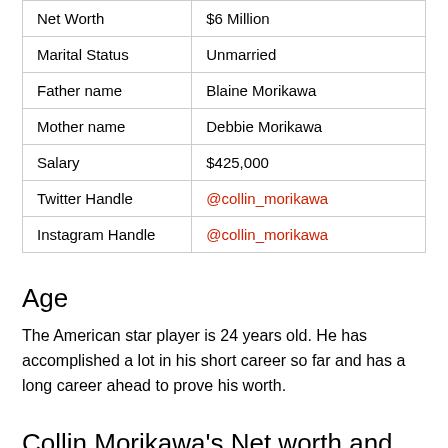|  |  |
| --- | --- |
| Net Worth | $6 Million |
| Marital Status | Unmarried |
| Father name | Blaine Morikawa |
| Mother name | Debbie Morikawa |
| Salary | $425,000 |
| Twitter Handle | @collin_morikawa |
| Instagram Handle | @collin_morikawa |
Age
The American star player is 24 years old. He has accomplished a lot in his short career so far and has a long career ahead to prove his worth.
Collin Morikawa's Net worth and Salary
Morikawa has a net worth of about $6 million and he earns a